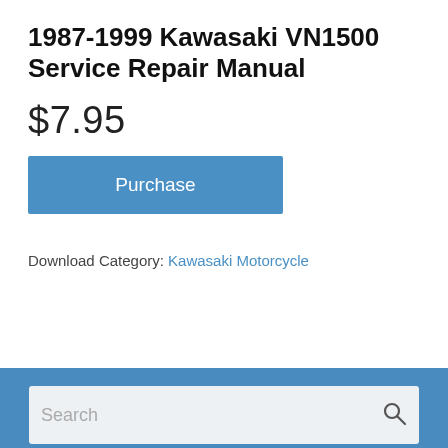1987-1999 Kawasaki VN1500 Service Repair Manual
$7.95
Purchase
Download Category: Kawasaki Motorcycle
Search
Copyright © 2022 Service Repair Manuals PDF